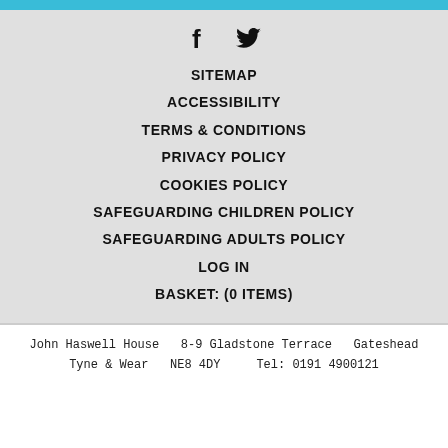[Figure (other): Social media icons: Facebook (f) and Twitter (bird)]
SITEMAP
ACCESSIBILITY
TERMS & CONDITIONS
PRIVACY POLICY
COOKIES POLICY
SAFEGUARDING CHILDREN POLICY
SAFEGUARDING ADULTS POLICY
LOG IN
BASKET: (0 ITEMS)
John Haswell House  8-9 Gladstone Terrace  Gateshead
Tyne & Wear  NE8 4DY    Tel: 0191 4900121